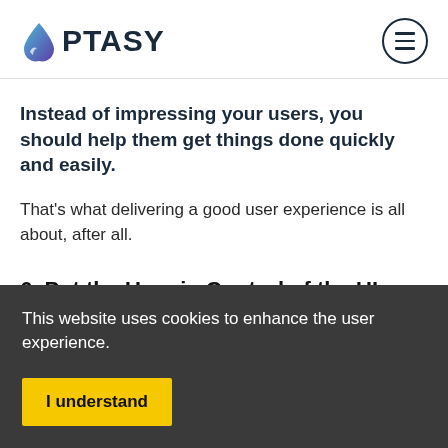OPTASY
Instead of impressing your users, you should help them get things done quickly and easily.
That's what delivering a good user experience is all about, after all.
6. Put the User in Control of the UI
This website uses cookies to enhance the user experience.
I understand